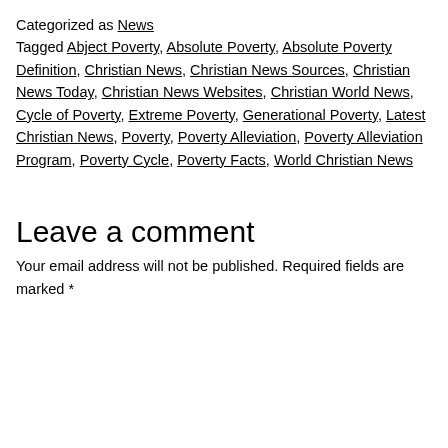Categorized as News
Tagged Abject Poverty, Absolute Poverty, Absolute Poverty Definition, Christian News, Christian News Sources, Christian News Today, Christian News Websites, Christian World News, Cycle of Poverty, Extreme Poverty, Generational Poverty, Latest Christian News, Poverty, Poverty Alleviation, Poverty Alleviation Program, Poverty Cycle, Poverty Facts, World Christian News
Leave a comment
Your email address will not be published. Required fields are marked *